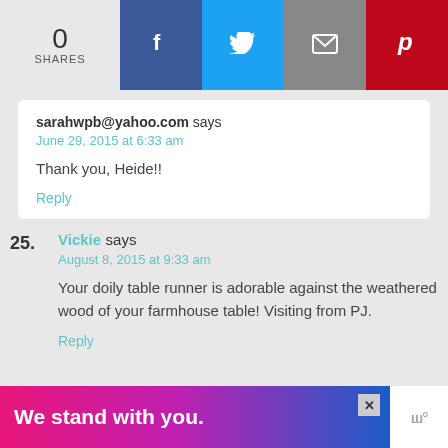0 SHARES
sarahwpb@yahoo.com says
June 29, 2015 at 6:33 am
Thank you, Heide!!
Reply
25. Vickie says
August 8, 2015 at 9:33 am
Your doily table runner is adorable against the weathered wood of your farmhouse table! Visiting from PJ.
Reply
[Figure (infographic): Advertisement banner: 'We stand with you.' in white bold text on pink/purple/blue gradient background, with X close button and logo on right]